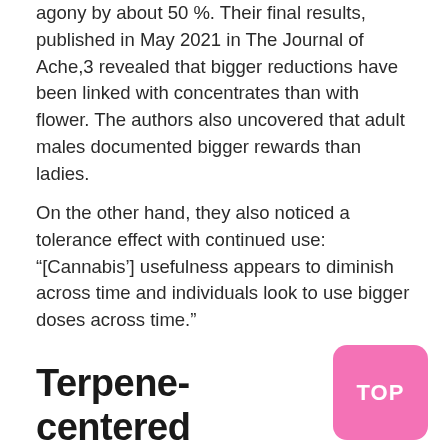agony by about 50 %. Their final results, published in May 2021 in The Journal of Ache,3 revealed that bigger reductions have been linked with concentrates than with flower. The authors also uncovered that adult males documented bigger rewards than ladies.
On the other hand, they also noticed a tolerance effect with continued use: “[Cannabis’] usefulness appears to diminish across time and individuals look to use bigger doses across time.”
Terpene-centered medications for mind well being
So what is it about cannabis that helps to increase migraine and headache signs? Is it largely THC, as